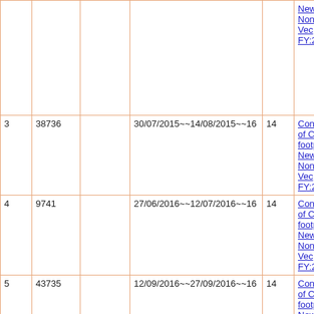|  |  |  |  |  |  |
| --- | --- | --- | --- | --- | --- |
|  |  |  |  |  | New Nonglamin Vec FY:2014-15 |
| 3 | 38736 |  | 30/07/2015~~14/08/2015~~16 | 14 | Construction of CC footpath at New Nonglamin Vec FY:2014-15 |
| 4 | 9741 |  | 27/06/2016~~12/07/2016~~16 | 14 | Construction of CC footpath at New Nonglamin Vec FY:2014-15 |
| 5 | 43735 |  | 12/09/2016~~27/09/2016~~16 | 14 | Construction of CC footpath at New Nonglamin Vec FY:2014-15 |
| 6 | 49938 |  | 14/10/2016~~29/10/2016~~16 | 14 | Construction of CC footpath at... |